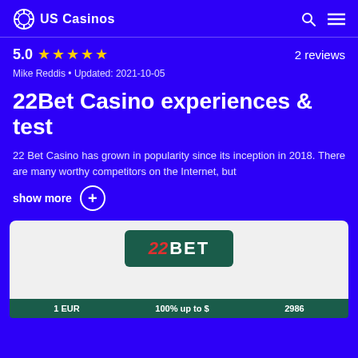US Casinos
5.0 ★★★★★  2 reviews
Mike Reddis • Updated: 2021-10-05
22Bet Casino experiences & test
22 Bet Casino has grown in popularity since its inception in 2018. There are many worthy competitors on the Internet, but
show more
[Figure (logo): 22BET casino logo on dark green background inside a light grey rounded card]